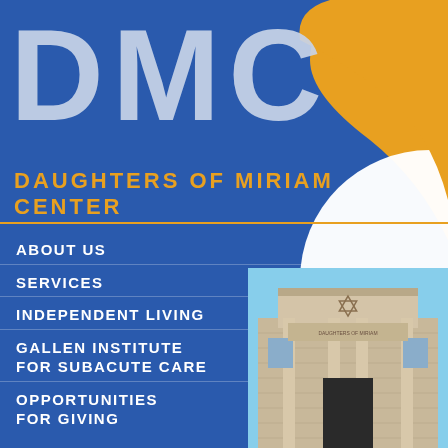DMC
DAUGHTERS OF MIRIAM CENTER
[Figure (illustration): Orange swoosh arc design element on blue background]
ABOUT US
SERVICES
INDEPENDENT LIVING
GALLEN INSTITUTE FOR SUBACUTE CARE
OPPORTUNITIES FOR GIVING
[Figure (photo): Historic brick building facade with Star of David architectural detail above entrance, light colored stone with columns]